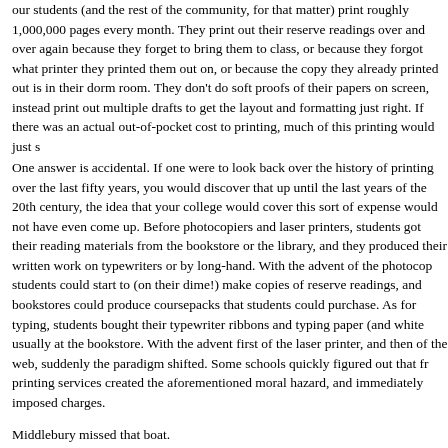our students (and the rest of the community, for that matter) print roughly 1,000,000 pages every month. They print out their reserve readings over and over again because they forget to bring them to class, or because they forgot what printer they printed them out on, or because the copy they already printed out is in their dorm room. They don't do soft proofs of their papers on screen, instead print out multiple drafts to get the layout and formatting just right. If there was an actual out-of-pocket cost to printing, much of this printing would just stop.
One answer is accidental. If one were to look back over the history of printing over the last fifty years, you would discover that up until the last years of the 20th century, the idea that your college would cover this sort of expense would not have even come up. Before photocopiers and laser printers, students got their reading materials from the bookstore or the library, and they produced their written work on typewriters or by long-hand. With the advent of the photocopier, students could start to (on their dime!) make copies of reserve readings, and bookstores could produce coursepacks that students could purchase. As for typing, students bought their typewriter ribbons and typing paper (and white out) usually at the bookstore. With the advent first of the laser printer, and then of the web, suddenly the paradigm shifted. Some schools quickly figured out that free printing services created the aforementioned moral hazard, and immediately imposed charges.
Middlebury missed that boat.